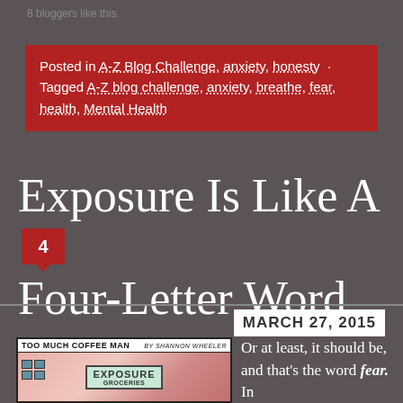8 bloggers like this.
Posted in A-Z Blog Challenge, anxiety, honesty · Tagged A-Z blog challenge, anxiety, breathe, fear, health, Mental Health
Exposure Is Like A Four-Letter Word
MARCH 27, 2015
[Figure (illustration): Too Much Coffee Man comic strip by Shannon Wheeler showing a building with sign reading EXPOSURE GROCERIES]
Or at least, it should be, and that's the word fear. In